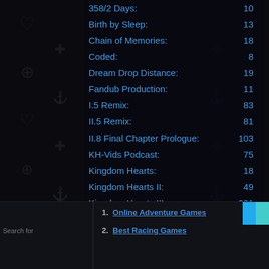358/2 Days: 10
Birth by Sleep: 13
Chain of Memories: 18
Coded: 8
Dream Drop Distance: 19
Fandub Production: 11
I.5 Remix: 83
II.5 Remix: 81
II.8 Final Chapter Prologue: 103
KH-Vids Podcast: 75
Kingdom Hearts: 18
Kingdom Hearts II: 49
Kingdom Hearts III: 231
Kingdom Hearts Series: 224
Kingdom Hearts x[chi]: 44
Melody of Memory: 5
1. Online Adventure Games
2. Best Racing Games
Search for